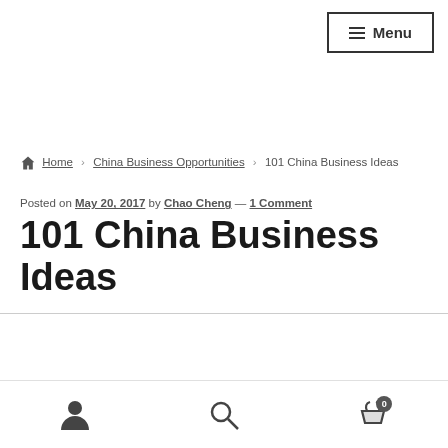≡ Menu
🏠 Home › China Business Opportunities › 101 China Business Ideas
Posted on May 20, 2017 by Chao Cheng — 1 Comment
101 China Business Ideas
Person icon | Search icon | Cart icon (0)